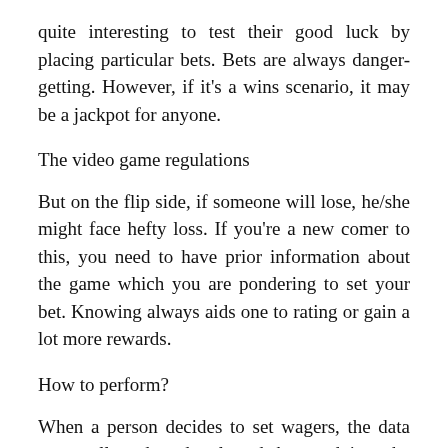quite interesting to test their good luck by placing particular bets. Bets are always danger-getting. However, if it's a wins scenario, it may be a jackpot for anyone.
The video game regulations
But on the flip side, if someone will lose, he/she might face hefty loss. If you're a new comer to this, you need to have prior information about the game which you are pondering to set your bet. Knowing always aids one to rating or gain a lot more rewards.
How to perform?
When a person decides to set wagers, the data gets collected and selected by studying the occasions which will occur in different levels in the go with. People put their bet on predicted targets. Anybody can make bets from any section of the entire world. It is possible to make prophecies today. An individual can make prophecies